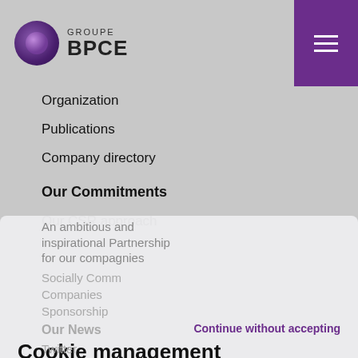GROUPE BPCE
Organization
Publications
Company directory
Our Commitments
Our CSR approach
An ambitious and inspirational Partnership for our compagnies
Socially Committed Companies
Sponsorship
Our News
Twitter
Continue without accepting
Cookie management
BPCE and its partners use trackers to ensure the proper functioning of its website, to anonymously measure audience size, and to enable the reading of multimedia content hosted on third-party websites. You may accept these cookies, customize your choices or continue without accepting (equivalent to refusal) by clicking on the relevant